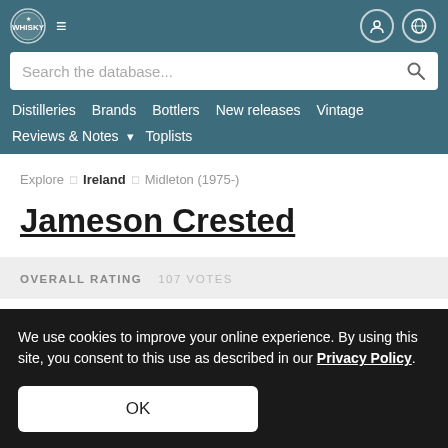Search the database... | Distilleries | Brands | Bottlers | New releases | Vintage | Reviews & Notes | Toplists
Explore » Ireland » Midleton (1975-)
Jameson Crested
OVERALL RATING   107 VOTES
We use cookies to improve your online experience. By using this site, you consent to this use as described in our Privacy Policy.
OK